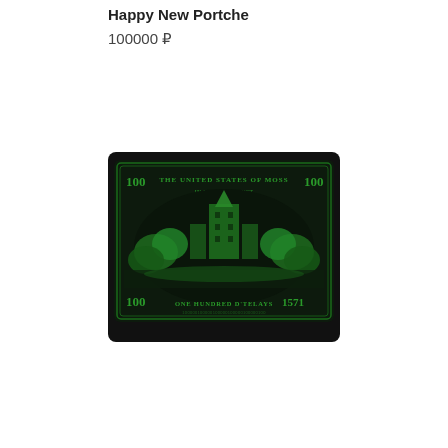Happy New Portche
100000 ₽
[Figure (photo): Dark novelty item styled as a $100 bill with green print on black background reading 'THE UNITED STATES OF MOSS 100' at top and 'ONE HUNDRED D'TELAYS' at bottom, with an illustration of a building/cityscape in green.]